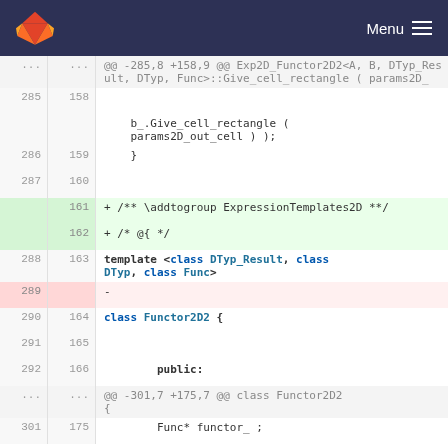GitLab — Menu
[Figure (screenshot): Git diff view showing code changes in a C++ file, with line numbers (old/new), hunk headers, added lines (green background), removed lines (red background), and code content including template class definitions for Functor2D2.]